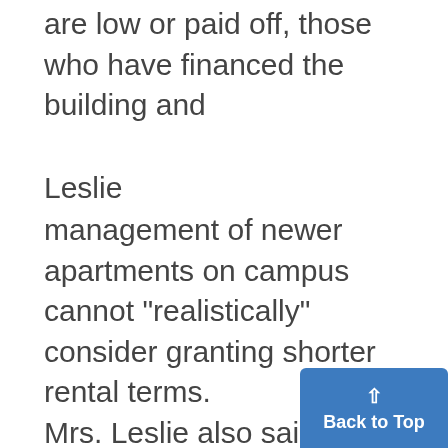are low or paid off, those who have financed the building and
Leslie
management of newer apartments on campus cannot "realistically" consider granting shorter rental terms. Mrs. Leslie also said that those students who expect the rents under eight-month leases to be the same or less than under 12 month' leases will be greatly disappointed. Property owners are